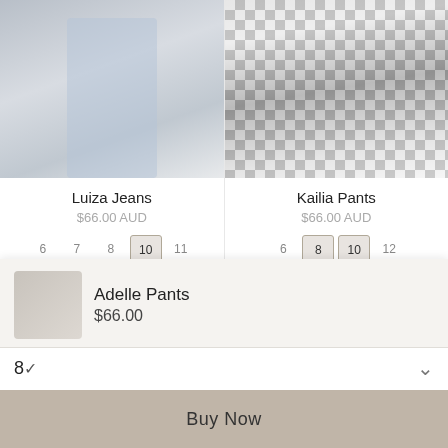[Figure (photo): Woman sitting on a transparent stool wearing light blue wide-leg jeans and black heels]
Luiza Jeans
$66.00 AUD
Sizes: 6, 7, 8, 10 (selected), 11, 12, 14, 9
[Figure (photo): Person wearing black and white checkered wide-leg pants with strappy heels]
Kailia Pants
$66.00 AUD
Sizes: 6, 8 (selected), 10 (selected), 12, 14
Adelle Pants
$66.00
8
Buy Now